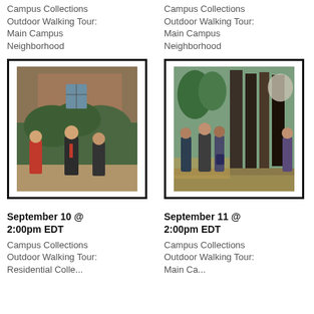Campus Collections Outdoor Walking Tour: Main Campus Neighborhood
Campus Collections Outdoor Walking Tour: Main Campus Neighborhood
[Figure (photo): Group of people on an outdoor walking tour in front of a brick building with ivy]
[Figure (photo): Group of people on an outdoor walking tour viewing a large outdoor sculpture]
September 10 @ 2:00pm EDT
September 11 @ 2:00pm EDT
Campus Collections Outdoor Walking Tour: Residential Colle...
Campus Collections Outdoor Walking Tour: Main Ca...